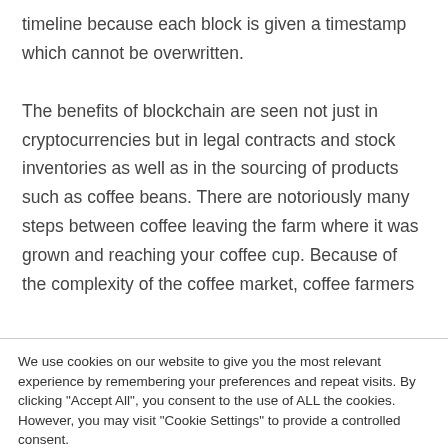timeline because each block is given a timestamp which cannot be overwritten.

The benefits of blockchain are seen not just in cryptocurrencies but in legal contracts and stock inventories as well as in the sourcing of products such as coffee beans. There are notoriously many steps between coffee leaving the farm where it was grown and reaching your coffee cup. Because of the complexity of the coffee market, coffee farmers
We use cookies on our website to give you the most relevant experience by remembering your preferences and repeat visits. By clicking "Accept All", you consent to the use of ALL the cookies. However, you may visit "Cookie Settings" to provide a controlled consent.